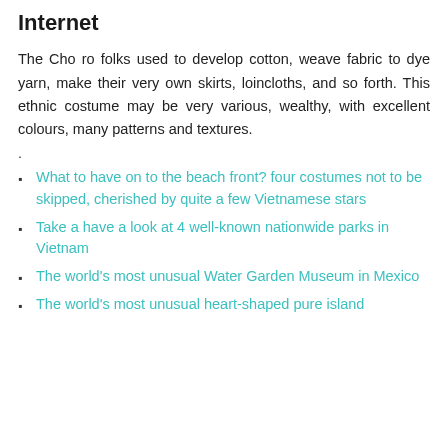Internet
The Cho ro folks used to develop cotton, weave fabric to dye yarn, make their very own skirts, loincloths, and so forth. This ethnic costume may be very various, wealthy, with excellent colours, many patterns and textures.
.
What to have on to the beach front? four costumes not to be skipped, cherished by quite a few Vietnamese stars
Take a have a look at 4 well-known nationwide parks in Vietnam
The world's most unusual Water Garden Museum in Mexico
The world's most unusual heart-shaped pure island